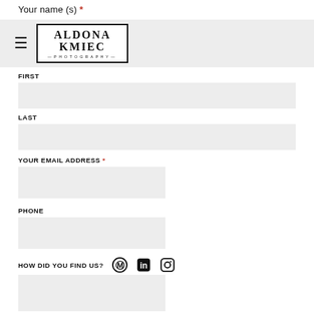Your name (s) *
[Figure (logo): Aldona Kmiec Photography logo in bordered box]
FIRST
LAST
YOUR EMAIL ADDRESS *
PHONE
HOW DID YOU FIND US?